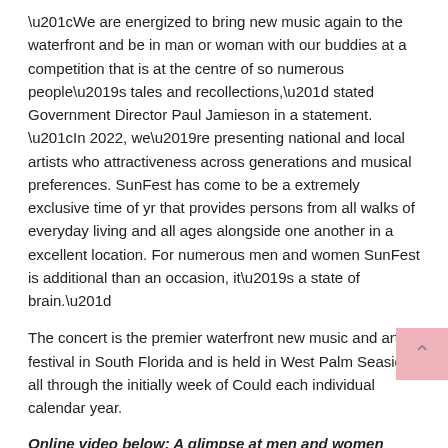“We are energized to bring new music again to the waterfront and be in man or woman with our buddies at a competition that is at the centre of so numerous people’s tales and recollections,” stated Government Director Paul Jamieson in a statement. “In 2022, we’re presenting national and local artists who attractiveness across generations and musical preferences. SunFest has come to be a extremely exclusive time of yr that provides persons from all walks of everyday living and all ages alongside one another in a excellent location. For numerous men and women SunFest is additional than an occasion, it’s a state of brain.”
The concert is the premier waterfront new music and art festival in South Florida and is held in West Palm Seaside all through the initially week of Could each individual calendar year.
Online video below: A glimpse at men and women braving the rain in 2019